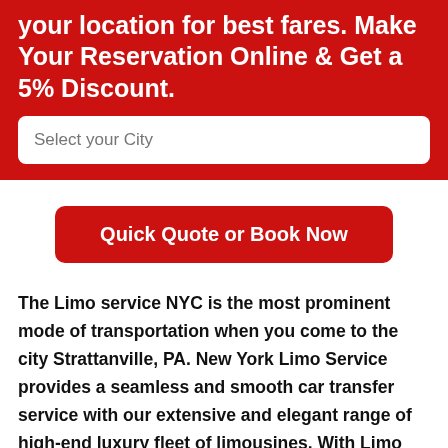your location for best fares. Make Your Reservation Online & Get a 5% Discount.
Select your City
Quick Quote or Book Now
The Limo service NYC is the most prominent mode of transportation when you come to the city Strattanville, PA. New York Limo Service provides a seamless and smooth car transfer service with our extensive and elegant range of high-end luxury fleet of limousines. With Limo service New York at your service, we assure you to get you the most extraordinary, sophisticated, and enticing lifetime